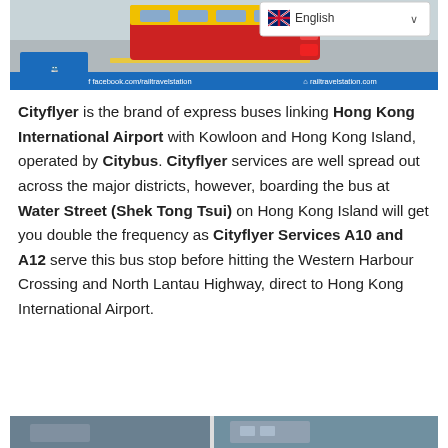[Figure (screenshot): Top banner of a travel website showing a red and yellow bus, a rail travel station logo in blue, English language selector with UK flag, and a blue footer bar with facebook.com/railtravelstation and railtravelstation.com]
Cityflyer is the brand of express buses linking Hong Kong International Airport with Kowloon and Hong Kong Island, operated by Citybus. Cityflyer services are well spread out across the major districts, however, boarding the bus at Water Street (Shek Tong Tsui) on Hong Kong Island will get you double the frequency as Cityflyer Services A10 and A12 serve this bus stop before hitting the Western Harbour Crossing and North Lantau Highway, direct to Hong Kong International Airport.
[Figure (photo): Bottom strip showing partial street/bus photos]